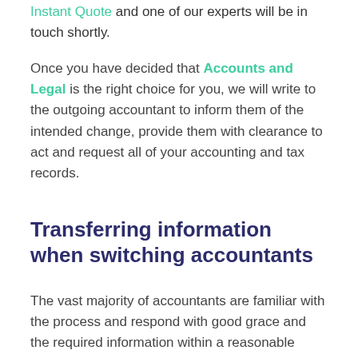Alternatively, you can get an Instant Quote and one of our experts will be in touch shortly.
Once you have decided that Accounts and Legal is the right choice for you, we will write to the outgoing accountant to inform them of the intended change, provide them with clearance to act and request all of your accounting and tax records.
Transferring information when switching accountants
The vast majority of accountants are familiar with the process and respond with good grace and the required information within a reasonable period of time.
As long as you are up to date with your fees, the